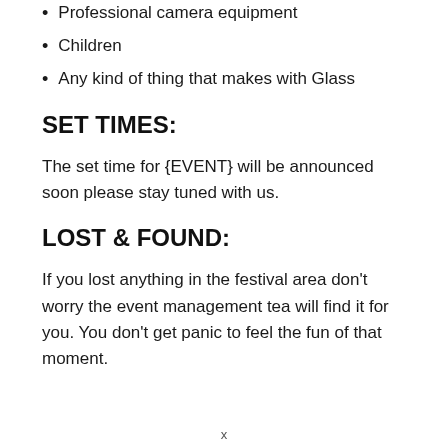Professional camera equipment
Children
Any kind of thing that makes with Glass
SET TIMES:
The set time for {EVENT} will be announced soon please stay tuned with us.
LOST & FOUND:
If you lost anything in the festival area don't worry the event management tea will find it for you. You don't get panic to feel the fun of that moment.
x